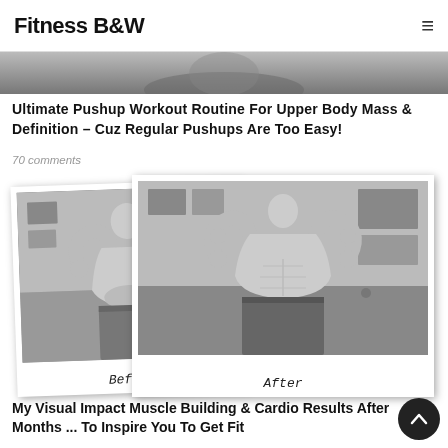Fitness B&W
[Figure (photo): Hero banner image strip at the top of the page, grayscale]
Ultimate Pushup Workout Routine For Upper Body Mass & Definition – Cuz Regular Pushups Are Too Easy!
70 comments
[Figure (photo): Before and after fitness transformation photos of a shirtless man flexing biceps, shown as polaroid-style photos. Left photo labeled 'Before', right photo labeled 'After'. Both photos are in black and white.]
My Visual Impact Muscle Building & Cardio Results After Months ... To Inspire You To Get Fit